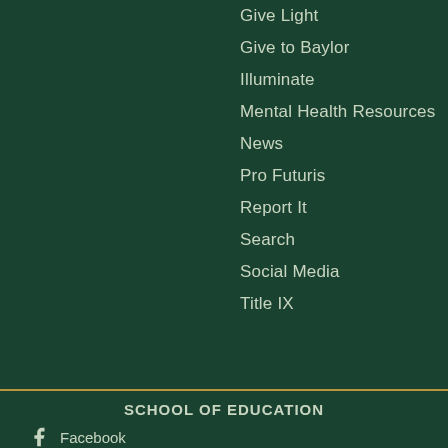Give Light
Give to Baylor
Illuminate
Mental Health Resources
News
Pro Futuris
Report It
Search
Social Media
Title IX
SCHOOL OF EDUCATION
Facebook
Twitter
Instagram